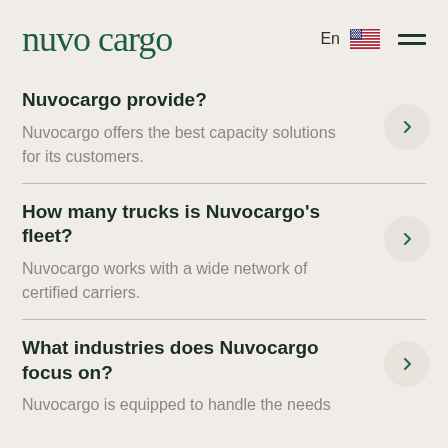nuvo cargo
Nuvocargo provide?
Nuvocargo offers the best capacity solutions for its customers.
How many trucks is Nuvocargo's fleet?
Nuvocargo works with a wide network of certified carriers.
What industries does Nuvocargo focus on?
Nuvocargo is equipped to handle the needs